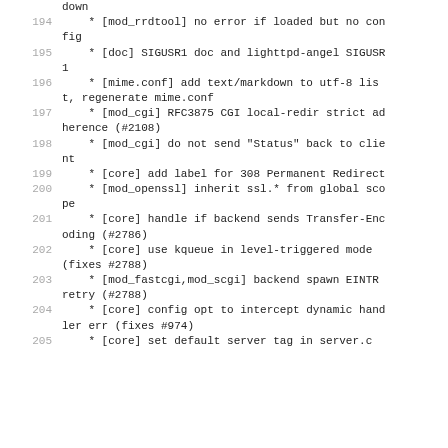down
194     * [mod_rrdtool] no error if loaded but no config
195     * [doc] SIGUSR1 doc and lighttpd-angel SIGUSR1
196     * [mime.conf] add text/markdown to utf-8 list, regenerate mime.conf
197     * [mod_cgi] RFC3875 CGI local-redir strict adherence (#2108)
198     * [mod_cgi] do not send "Status" back to client
199     * [core] add label for 308 Permanent Redirect
200     * [mod_openssl] inherit ssl.* from global scope
201     * [core] handle if backend sends Transfer-Encoding (#2786)
202     * [core] use kqueue in level-triggered mode (fixes #2788)
203     * [mod_fastcgi,mod_scgi] backend spawn EINTR retry (#2788)
204     * [core] config opt to intercept dynamic handler err (fixes #974)
205     * [core] set default server tag in server.c